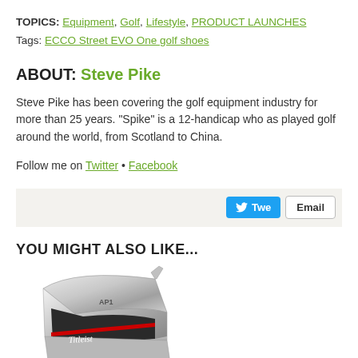TOPICS: Equipment, Golf, Lifestyle, PRODUCT LAUNCHES
Tags: ECCO Street EVO One golf shoes
ABOUT: Steve Pike
Steve Pike has been covering the golf equipment industry for more than 25 years. "Spike" is a 12-handicap who as played golf around the world, from Scotland to China.
Follow me on Twitter • Facebook
[Figure (other): Share bar with Twitter and Email buttons]
YOU MIGHT ALSO LIKE...
[Figure (photo): Photo of a Titleist AP1 golf iron club head, silver/chrome finish with black and red accents and Titleist branding]